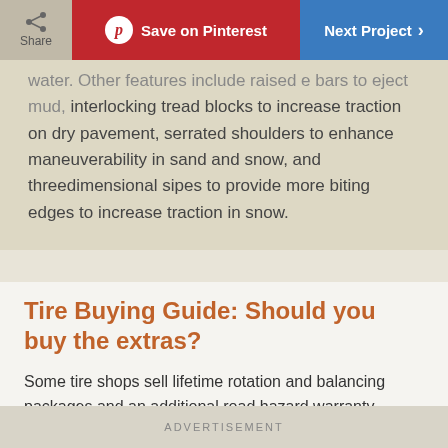Share | Save on Pinterest | Next Project
water. Other features include raised e bars to eject mud, interlocking tread blocks to increase traction on dry pavement, serrated shoulders to enhance maneuverability in sand and snow, and threedimensional sipes to provide more biting edges to increase traction in snow.
Tire Buying Guide: Should you buy the extras?
Some tire shops sell lifetime rotation and balancing packages and an additional road hazard warranty. Buying both packages can add nearly $40 to the cost of each tire. But regular tire rotation and rebalancing are critical to
ADVERTISEMENT